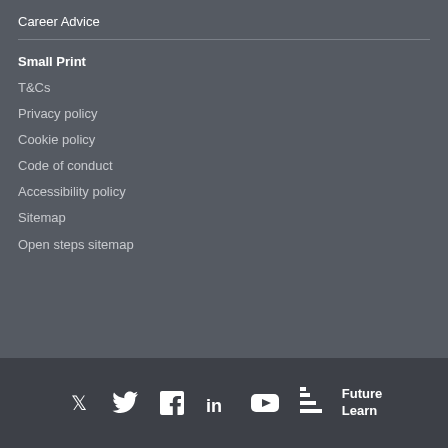Career Advice
Small Print
T&Cs
Privacy policy
Cookie policy
Code of conduct
Accessibility policy
Sitemap
Open steps sitemap
[Figure (logo): FutureLearn footer with social media icons (Twitter, Facebook, LinkedIn, YouTube) and FutureLearn staircase logo]